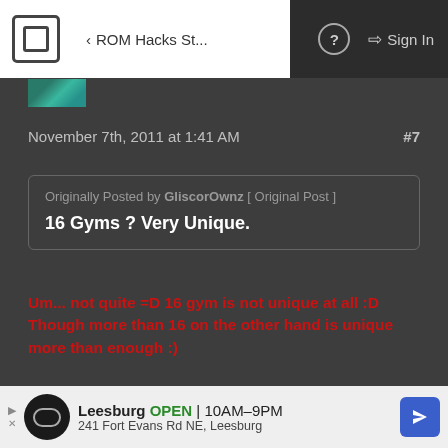ROM Hacks St... | Sign In
November 7th, 2011 at 1:41 AM  #7
Originally Posted by GliscorOwnz [ Original Post ]
16 Gyms ? Very Unique.
Um... not quite =D 16 gym is not unique at all :D Though more than 16 on the other hand is unique more than enough :)
miksy91